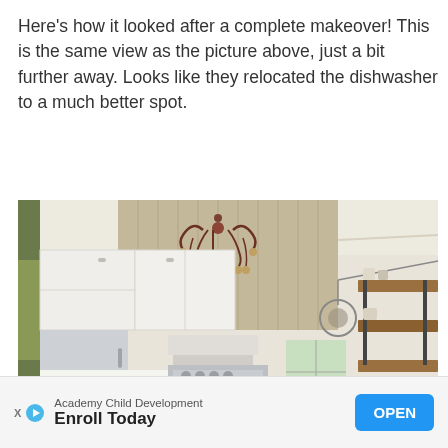Here's how it looked after a complete makeover! This is the same view as the picture above, just a bit further away. Looks like they relocated the dishwasher to a much better spot.
[Figure (photo): Interior photo of a renovated kitchen showing white cabinets, stainless steel refrigerator, ornate chandelier, open wood shelving on the right wall, subway tile backsplash, and a window in the background.]
Academy Child Development
Enroll Today
OPEN